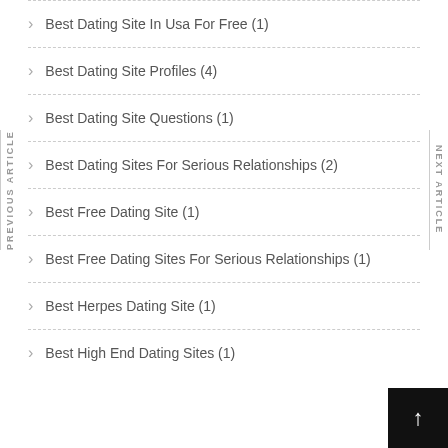Best Dating Site In Usa For Free (1)
Best Dating Site Profiles (4)
Best Dating Site Questions (1)
Best Dating Sites For Serious Relationships (2)
Best Free Dating Site (1)
Best Free Dating Sites For Serious Relationships (1)
Best Herpes Dating Site (1)
Best High End Dating Sites (1)